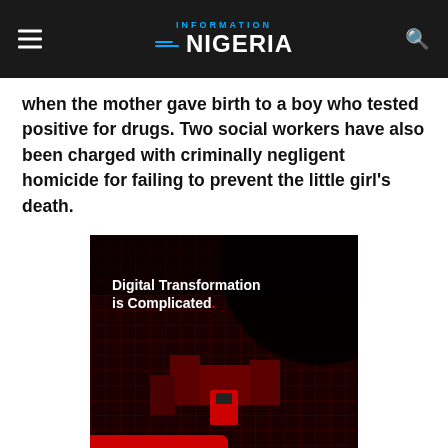Information Nigeria
when the mother gave birth to a boy who tested positive for drugs. Two social workers have also been charged with criminally negligent homicide for failing to prevent the little girl's death.
[Figure (infographic): Advertisement: Dark maze/grid background with a small figure in red cube at center. Text overlay reads 'Digital Transformation is Complicated.' Bottom tagline: 'But with the right partner, It's simple and seamless.' with inq. logo badge.]